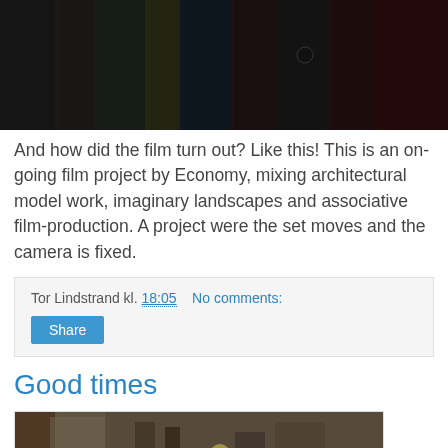[Figure (photo): Dark cinematic film still with colored vertical bars in background, moody lighting]
And how did the film turn out? Like this! This is an on-going film project by Economy, mixing architectural model work, imaginary landscapes and associative film-production. A project were the set moves and the camera is fixed.
Tor Lindstrand kl. 18:05    No comments:
Share
Good times
[Figure (photo): People gathered around equipment in a bright indoor space, appears to be a film or music shoot]